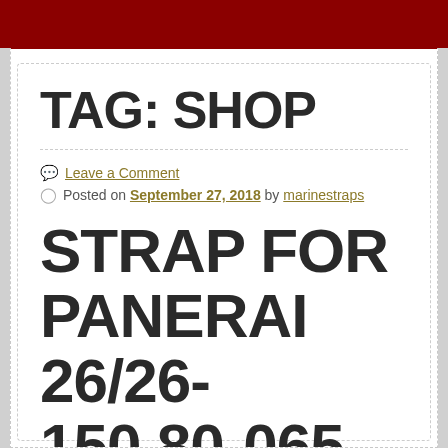TAG: SHOP
Leave a Comment
Posted on September 27, 2018 by marinestraps
STRAP FOR PANERAI 26/26-150.80-065